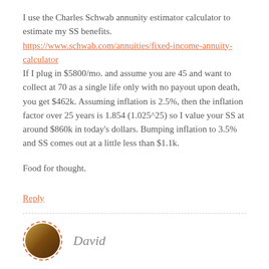I use the Charles Schwab annunity estimator calculator to estimate my SS benefits. https://www.schwab.com/annuities/fixed-income-annuity-calculator If I plug in $5800/mo. and assume you are 45 and want to collect at 70 as a single life only with no payout upon death, you get $462k. Assuming inflation is 2.5%, then the inflation factor over 25 years is 1.854 (1.025^25) so I value your SS at around $860k in today's dollars. Bumping inflation to 3.5% and SS comes out at a little less than $1.1k.
Food for thought.
Reply
David